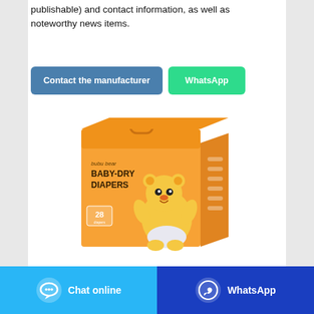publishable) and contact information, as well as noteworthy news items.
[Figure (other): Two CTA buttons: 'Contact the manufacturer' (blue) and 'WhatsApp' (green)]
[Figure (photo): Product photo: bubu bear BABY-DRY DIAPERS orange box with cartoon bear character, 28 count]
[Figure (other): Bottom navigation bar with 'Chat online' (light blue) and 'WhatsApp' (dark blue) buttons]